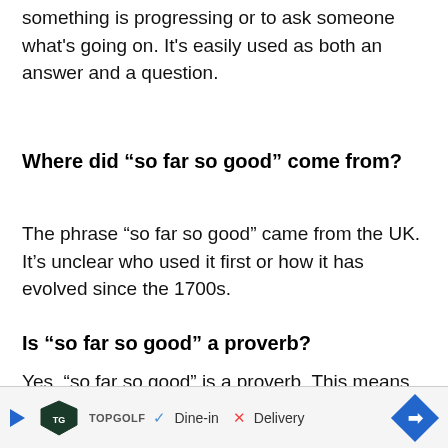something is progressing or to ask someone what's going on. It's easily used as both an answer and a question.
Where did “so far so good” come from?
The phrase “so far so good” came from the UK. It’s unclear who used it first or how it has evolved since the 1700s.
Is “so far so good” a proverb?
Yes, “so far so good” is a proverb. This means that one uses it as a way of comm... also...
[Figure (other): Advertisement banner for Topgolf showing Dine-in and Delivery options with a blue navigation arrow icon]